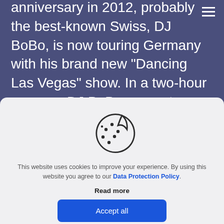anniversary in 2012, probably the best-known Swiss, DJ BoBo, is now touring Germany with his brand new "Dancing Las Vegas" show. In a two-hour program DJ BoBo presents brand new songs from his album "Dancing Las Vegas" and
[Figure (illustration): Cookie icon — a round cookie with a bite taken out of the top-right, decorated with several small dots representing chocolate chips, rendered as a thin dark outline on a light gray background.]
This website uses cookies to improve your experience. By using this website you agree to our Data Protection Policy.
Read more
Accept all